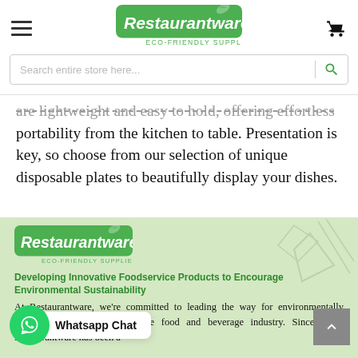[Figure (logo): Restaurantware Eco-Friendly Supplies logo with green leaf and green rounded rectangle background, in the page header navigation bar]
[Figure (screenshot): Search bar with placeholder text 'Search entire store here...' and a green magnifying glass search button on the right]
are lightweight and easy to hold, offering effortless portability from the kitchen to table. Presentation is key, so choose from our selection of unique disposable plates to beautifully display your dishes.
[Figure (logo): Restaurantware Eco-Friendly Supplies logo in the green footer section]
Developing Innovative Foodservice Products to Encourage Environmental Sustainability
At Restaurantware, we're committed to leading the way for environmentally conscious businesses within the food and beverage industry. Since 2010, Restaurantware has been a
[Figure (other): WhatsApp Chat floating button with green circle icon and white label reading 'Whatsapp Chat']